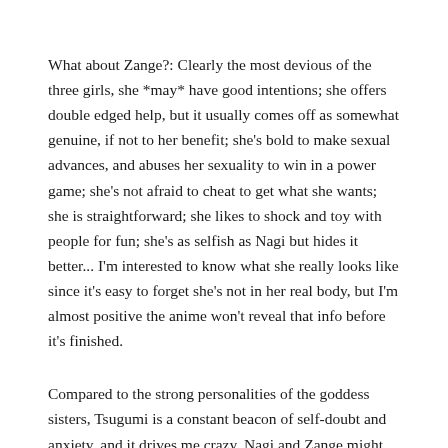What about Zange?: Clearly the most devious of the three girls, she *may* have good intentions; she offers double edged help, but it usually comes off as somewhat genuine, if not to her benefit; she's bold to make sexual advances, and abuses her sexuality to win in a power game; she's not afraid to cheat to get what she wants; she is straightforward; she likes to shock and toy with people for fun; she's as selfish as Nagi but hides it better... I'm interested to know what she really looks like since it's easy to forget she's not in her real body, but I'm almost positive the anime won't reveal that info before it's finished.
Compared to the strong personalities of the goddess sisters, Tsugumi is a constant beacon of self-doubt and anxiety, and it drives me crazy. Nagi and Zange might be much less ethical and well-mannered, but that makes them so much more interesting and fun to watch. I guess part of what makes them special (besides not being human?) is that they make everyone else around them